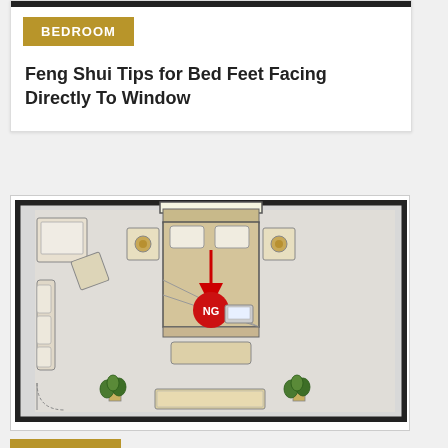BEDROOM
Feng Shui Tips for Bed Feet Facing Directly To Window
[Figure (engineering-diagram): Floor plan of a bedroom showing a bed with feet pointing toward a window, marked with a red circle labeled 'NG' and a red arrow indicating the bad feng shui direction. Room includes sofa seating area, plants, bench, and nightstands.]
BEDROOM